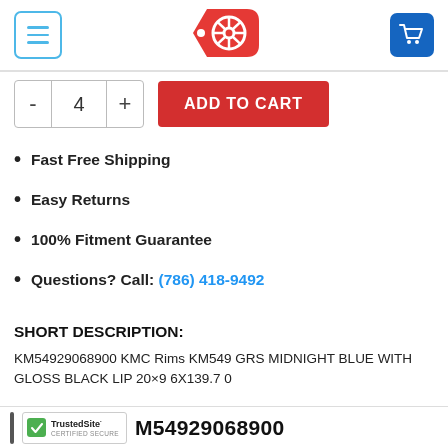Navigation header with menu button, wheel/tag logo, and cart button
[Figure (screenshot): Add to cart UI with quantity selector showing 4 and red ADD TO CART button]
Fast Free Shipping
Easy Returns
100% Fitment Guarantee
Questions? Call: (786) 418-9492
SHORT DESCRIPTION:
KM54929068900 KMC Rims KM549 GRS MIDNIGHT BLUE WITH GLOSS BLACK LIP 20×9 6X139.7 0
TrustedSite CERTIFIED SECURE | M54929068900